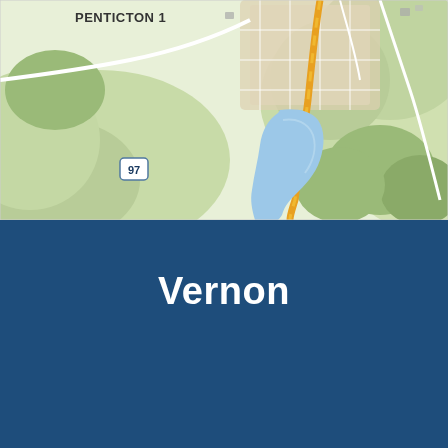[Figure (map): Street/terrain map showing Penticton 1 area with highway 97 running through it, a blue lake/water body, green terrain, and road network visible. Label 'PENTICTON 1' shown in upper left area of map.]
Vernon